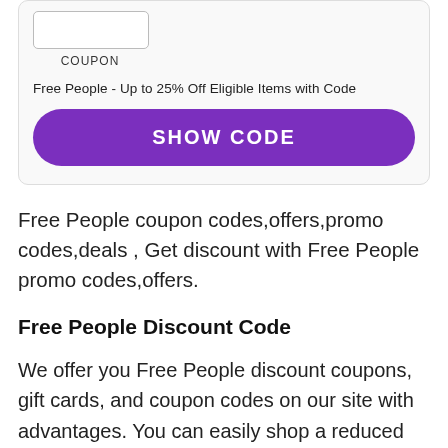[Figure (other): Coupon card with a coupon box labeled COUPON, offer text, and a purple SHOW CODE button]
Free People coupon codes,offers,promo codes,deals , Get discount with Free People promo codes,offers.
Free People Discount Code
We offer you Free People discount coupons, gift cards, and coupon codes on our site with advantages. You can easily shop a reduced price while using Free People discount coupons, gift certificates, and coupon codes on our site.